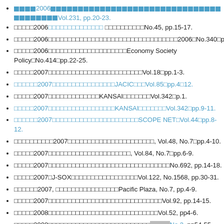□□□□2006□□□□□□□□□□□□□□□□□□□□□□□□□□□□□□□□□□□□□□□Vol.231, pp.20-23.
□□□□□2006□□□□□□□□□□□□□□ □□□□□□□□□□No.45, pp.15-17.
□□□□□2006□□□□□□□□□□□□□□□□□□□□□□□□□□□□□□□□□2006□No.340□p.5.
□□□□□2006□□□□□□□□□□□□□□□□□□□□Economy Society Policy□No.414□pp.22-25.
□□□□□2007□□□□□□□□□□□□□□□□□□□□□□□□Vol.18□pp.1-3.
□□□□□□2007□□□□□□□□□□□□□□□□JACIC□□□Vol.85□pp.4□12.
□□□□□2007□□□□□□□□□□□□□KANSAI□□□□□□□Vol.342□p.1.
□□□□□2007□□□□□□□□□□□□□□□□□KANSAI□□□□□□□Vol.342□pp.9-11.
□□□□□□2007□□□□□□□□□□□□□□□□□□□□□□SCOPE NET□Vol.44□pp.8-12.
□□□□□□□□□□2007□□□□□□□□□□□□□□□□□□□□□□, Vol.48, No.7□pp.4-10.
□□□□□2007□□□□□□□□□□□□□□□□□□□□□, Vol.84, No.7□pp.6-9.
□□□□□2007□□□□□□□□□□□□□□□□□□□□□□□□□□□□□□□No.692, pp.14-18.
□□□□□2007□J-SOX□□□□□□□□□□□□□□□□□Vol.122, No.1568, pp.30-31.
□□□□□□2007, □□□□□□□□□□□□□□□□Pacific Plaza, No.7, pp.4-9.
□□□□□2007□□□□□□□□□□□□□□□□□□□□□□□□□□□□□Vol.92, pp.14-15.
□□□□□2008□□□□□□□□□□□□□□□□□□□□□□□□□□□□Vol.52, pp4-6.
□□□□□2008□□□□□□□□□□□□□□□□□□□□□□□□□□No.3, pp54-55.